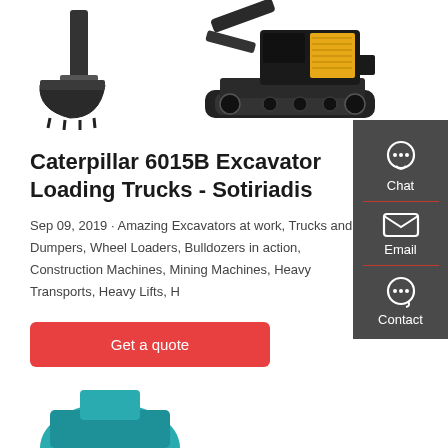[Figure (photo): Caterpillar excavator bucket attachment on left, full Caterpillar 6015B excavator (black and yellow) on right against white background]
Caterpillar 6015B Excavator Loading Trucks - Sotiriadis
Sep 09, 2019 · Amazing Excavators at work, Trucks and Dumpers, Wheel Loaders, Bulldozers in action, Construction Machines, Mining Machines, Heavy Transports, Heavy Lifts, H
Get a quote
[Figure (illustration): Chat, Email, Contact sidebar icons on dark grey background]
[Figure (photo): Partial view of teal/green construction equipment at bottom of page]